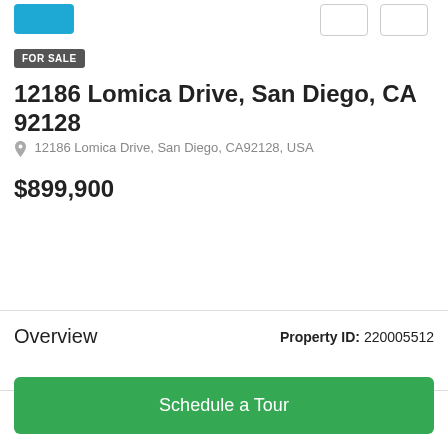FOR SALE
12186 Lomica Drive, San Diego, CA 92128
12186 Lomica Drive, San Diego, CA92128, USA
$899,900
Overview
Property ID: 220005512
Schedule a Tour